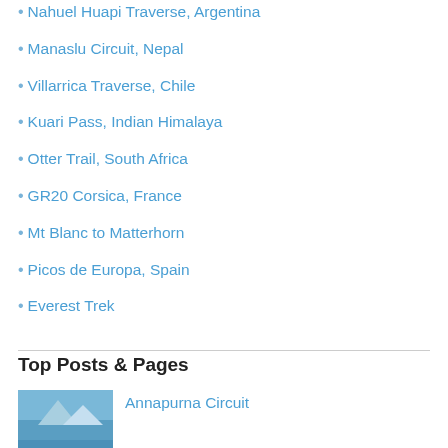Nahuel Huapi Traverse, Argentina
Manaslu Circuit, Nepal
Villarrica Traverse, Chile
Kuari Pass, Indian Himalaya
Otter Trail, South Africa
GR20 Corsica, France
Mt Blanc to Matterhorn
Picos de Europa, Spain
Everest Trek
Top Posts & Pages
[Figure (photo): Thumbnail photo, blue sky/mountain scene]
Annapurna Circuit